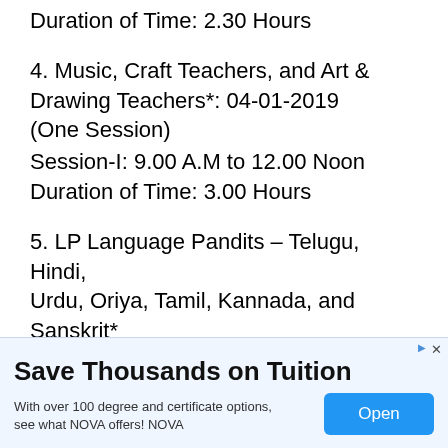Duration of Time: 2.30 Hours
4. Music, Craft Teachers, and Art & Drawing Teachers*: 04-01-2019 (One Session)
Session-I: 9.00 A.M to 12.00 Noon
Duration of Time: 3.00 Hours
5. LP Language Pandits – Telugu, Hindi, Urdu, Oriya, Tamil, Kannada, and Sanskrit
[Figure (other): Advertisement banner: Save Thousands on Tuition. With over 100 degree and certificate options, see what NOVA offers! NOVA. Open button.]